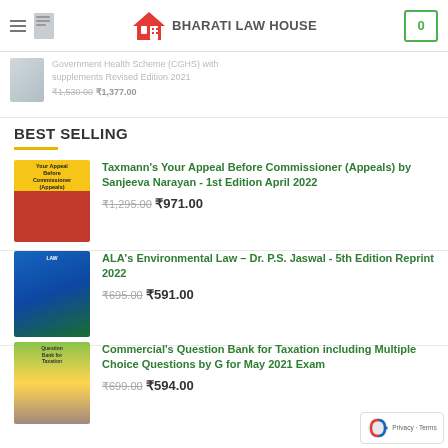Bharati Law House — navigation header with logo and cart
Government Health Scheme (CGHS) with supplements — Revised Edition 2021 ₹1,530.00 ₹1,377.00
BEST SELLING
Taxmann's Your Appeal Before Commissioner (Appeals) by Sanjeeva Narayan - 1st Edition April 2022 ₹1,295.00 ₹971.00
ALA's Environmental Law – Dr. P.S. Jaswal - 5th Edition Reprint 2022 ₹695.00 ₹591.00
Commercial's Question Bank for Taxation including Multiple Choice Questions by G for May 2021 Exam ₹699.00 ₹594.00